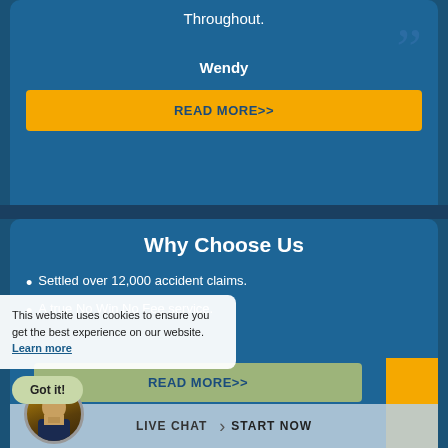Throughout.
Wendy
READ MORE>>
Why Choose Us
Settled over 12,000 accident claims.
A true No Win No Fee service.
This website uses cookies to ensure you get the best experience on our website.
Learn more
Got it!
READ MORE>>
LIVE CHAT START NOW